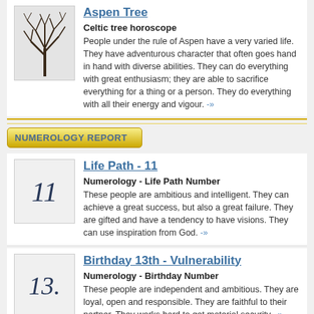[Figure (illustration): Drawing of a bare tree (Aspen) with no leaves, dark branches against a light background]
Aspen Tree
Celtic tree horoscope
People under the rule of Aspen have a very varied life. They have adventurous character that often goes hand in hand with diverse abilities. They can do everything with great enthusiasm; they are able to sacrifice everything for a thing or a person. They do everything with all their energy and vigour. -»
NUMEROLOGY REPORT
[Figure (illustration): Italic handwritten number 11 on a light gray background]
Life Path - 11
Numerology - Life Path Number
These people are ambitious and intelligent. They can achieve a great success, but also a great failure. They are gifted and have a tendency to have visions. They can use inspiration from God. -»
[Figure (illustration): Italic handwritten number 13. on a light gray background]
Birthday 13th - Vulnerability
Numerology - Birthday Number
These people are independent and ambitious. They are loyal, open and responsible. They are faithful to their partner. They works hard to get material security. -»